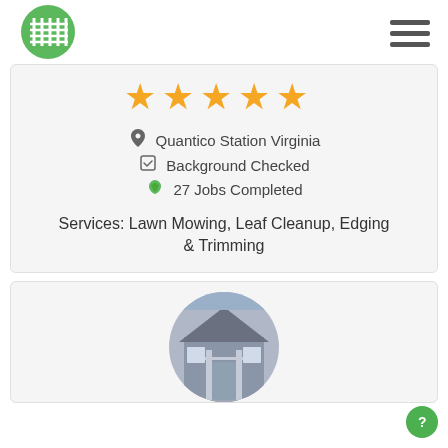Logo and navigation hamburger menu
[Figure (illustration): Five gold/yellow star rating icons displayed in a row]
Quantico Station Virginia
Background Checked
27 Jobs Completed
Services: Lawn Mowing, Leaf Cleanup, Edging & Trimming
[Figure (photo): Circular cropped photo of a house exterior with porch and stairs, grey/blue siding]